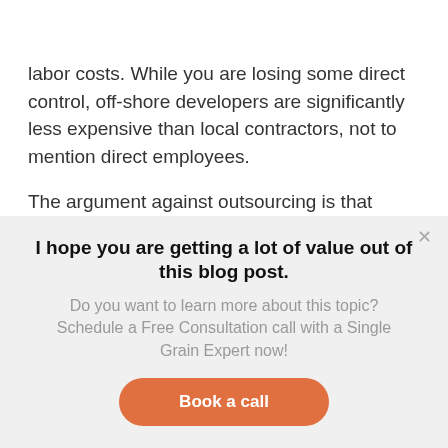labor costs. While you are losing some direct control, off-shore developers are significantly less expensive than local contractors, not to mention direct employees.
The argument against outsourcing is that “hired hands” have much less invested in the company
I hope you are getting a lot of value out of this blog post.
Do you want to learn more about this topic? Schedule a Free Consultation call with a Single Grain Expert now!
Book a call